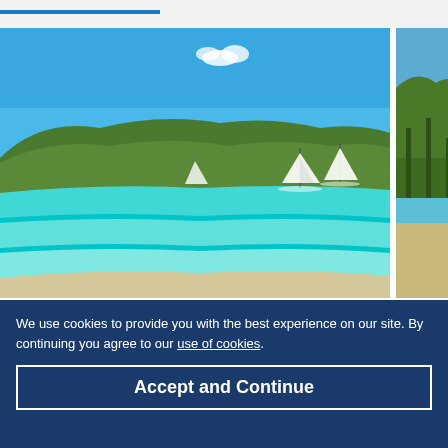[Figure (photo): Beautiful turquoise beach with clear shallow water, sailboats, and green hills in the background — Santa Giulia Beach near Porto-Vecchio]
Santa Guila Beach
Gorgeous beach close to Porto-Vechio with shallow warm water and lots of activities and watersports.
[Figure (photo): Partial view of another beach with trees — Plag...]
We use cookies to provide you with the best experience on our site. By continuing you agree to our use of cookies.
Accept and Continue